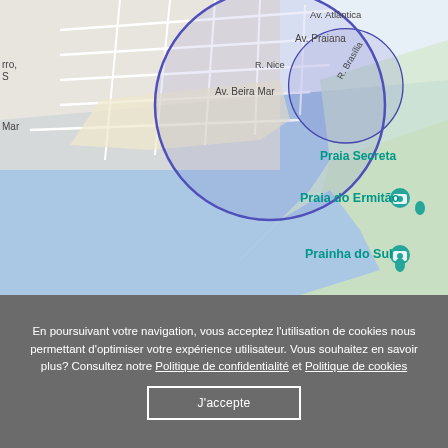[Figure (map): Google Maps screenshot showing a coastal area in Brazil with streets labeled Av. Atlântica, Av. Praiana, Av. Beira Mar, R. Nice, R. Brasília, and beach names Praia Secreta, Praia do Ermitão, and Prainha do Sul. A blue circle highlights a neighborhood near the coast. Teal camera icons mark Praia do Ermitão and Prainha do Sul.]
En poursuivant votre navigation, vous acceptez l'utilisation de cookies nous permettant d'optimiser votre expérience utilisateur. Vous souhaitez en savoir plus? Consultez notre Politique de confidentialité et Politique de cookies
J'accepte